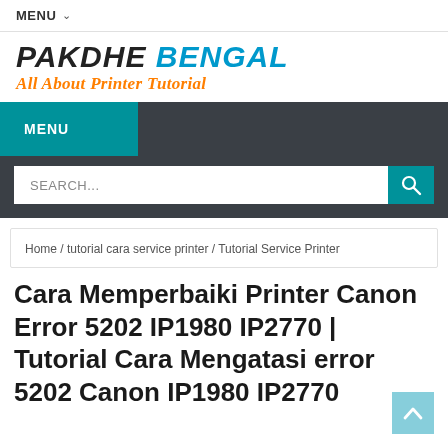MENU
[Figure (logo): Pakdhe Bengal logo with tagline 'All About Printer Tutorial']
MENU
SEARCH...
Home / tutorial cara service printer / Tutorial Service Printer
Cara Memperbaiki Printer Canon Error 5202 IP1980 IP2770 | Tutorial Cara Mengatasi error 5202 Canon IP1980 IP2770